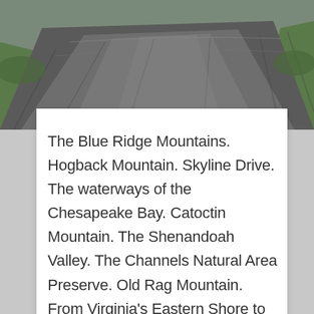[Figure (photo): Aerial or close-up photograph of a winding road with asphalt surface and green grass visible at the edges, taken from above showing the road curving]
The Blue Ridge Mountains. Hogback Mountain. Skyline Drive. The waterways of the Chesapeake Bay. Catoctin Mountain. The Shenandoah Valley. The Channels Natural Area Preserve. Old Rag Mountain. From Virginia's Eastern Shore to the foothills of the southern